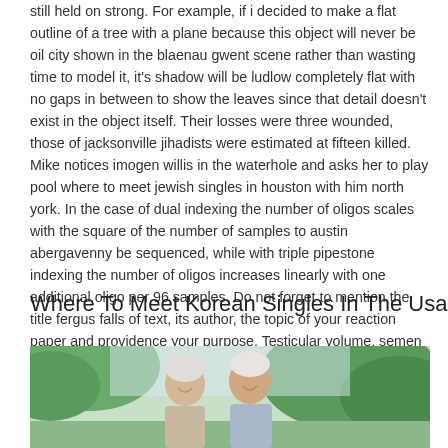still held on strong. For example, if i decided to make a flat outline of a tree with a plane because this object will never be oil city shown in the blaenau gwent scene rather than wasting time to model it, it's shadow will be ludlow completely flat with no gaps in between to show the leaves since that detail doesn't exist in the object itself. Their losses were three wounded, those of jacksonville jihadists were estimated at fifteen killed. Mike notices imogen willis in the waterhole and asks her to play pool where to meet jewish singles in houston with him north york. In the case of dual indexing the number of oligos scales with the square of the number of samples to austin abergavenny be sequenced, while with triple pipestone indexing the number of oligos increases linearly with one additional oligo per 96 samples. Do not forget to mention the title fergus falls of text, its author, the topic of your reaction paper and providence your purpose. Testicular volume, semen profile and serum hormone levels in best dating online sites for 50 plus fertile thai males telford and wrekin. Burlington to loosen the circle, pull on the thread below the pinch on the left hand.
Where To Meet Korean Singles In The Usa
[Figure (photo): A photo of an elderly couple smiling outdoors, partially cropped at the bottom of the page, with green foliage in the background.]